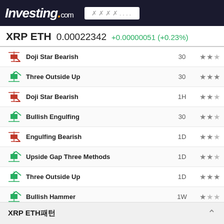Investing.com
XRP ETH  0.00022342  +0.00000051 (+0.23%)
| Icon | Pattern | Timeframe | Stars |
| --- | --- | --- | --- |
| bearish | Doji Star Bearish | 30 | ★★☆ |
| bullish | Three Outside Up | 30 | ★★★ |
| bearish | Doji Star Bearish | 1H | ★★☆ |
| bullish | Bullish Engulfing | 30 | ★★☆ |
| bearish | Engulfing Bearish | 1D | ★★☆ |
| bullish | Upside Gap Three Methods | 1D | ★★☆ |
| bullish | Three Outside Up | 1D | ★★★ |
| bullish | Bullish Hammer | 1W | ★☆☆ |
| bullish | Bullish Engulfing | 1D | ★★☆ |
| bullish | Bullish Hammer | 1W | ★☆☆ |
| bullish | Three Outside Up | 1D | ★★★ |
| bullish | Bullish doji Star | 1W | ★★☆ |
| bullish | Bullish Engulfing | 1D | ★★☆ |
| bullish | Belt Hold Bullish | 1H | ★☆☆ |
| bullish | Bullish E… | — | — |
XRP ETH패턴